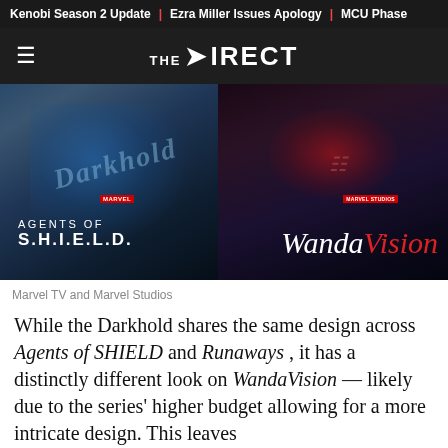Kenobi Season 2 Update | Ezra Miller Issues Apology | MCU Phase
THE DIRECT
[Figure (photo): Side-by-side composite image of the Darkhold from Agents of S.H.I.E.L.D. (left, blue-tinted, ornate gothic book) and WandaVision (right, dark red-tinted, intricate carved cover). Overlaid text shows AGENTS OF S.H.I.E.L.D. with Marvel logo on left, and WandaVision with Marvel Studios logo on right.]
Marvel TV and Marvel Studios
While the Darkhold shares the same design across Agents of SHIELD and Runaways , it has a distinctly different look on WandaVision — likely due to the series' higher budget allowing for a more intricate design. This leaves